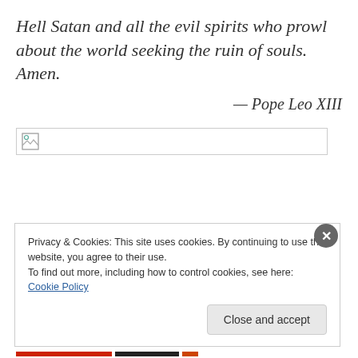Hell Satan and all the evil spirits who prowl about the world seeking the ruin of souls. Amen.
— Pope Leo XIII
[Figure (other): Broken/missing image placeholder with small image icon in top-left corner]
Privacy & Cookies: This site uses cookies. By continuing to use this website, you agree to their use.
To find out more, including how to control cookies, see here: Cookie Policy
Close and accept